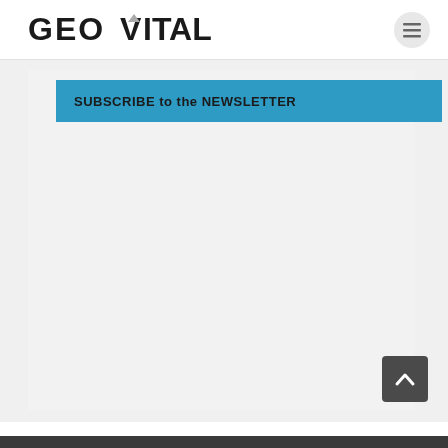[Figure (logo): GEOVITAL logo in black bold text with a downward triangle marker above the V]
[Figure (other): Hamburger menu icon with circular background on the right side of the header]
SUBSCRIBE to the NEWSLETTER
[Figure (other): Back to top arrow button, dark grey rounded square with upward chevron arrow]